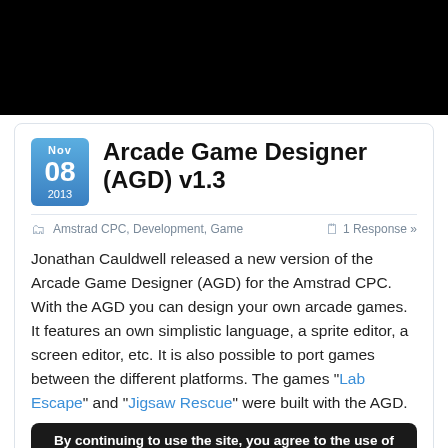[Figure (other): Black header bar at top of page]
Arcade Game Designer (AGD) v1.3
Amstrad CPC, Development, Game    1 Response »
Jonathan Cauldwell released a new version of the Arcade Game Designer (AGD) for the Amstrad CPC. With the AGD you can design your own arcade games. It features an own simplistic language, a sprite editor, a screen editor, etc. It is also possible to port games between the different platforms. The games "Lab Escape" and "Jigsaw Rescue" were built with the AGD.
By continuing to use the site, you agree to the use of cookies.
You can get more info about the latest version in the CPC wiki forums.
Cha...